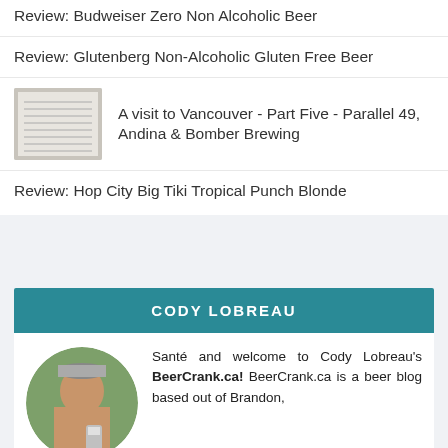Review: Budweiser Zero Non Alcoholic Beer
Review: Glutenberg Non-Alcoholic Gluten Free Beer
A visit to Vancouver - Part Five - Parallel 49, Andina & Bomber Brewing
Review: Hop City Big Tiki Tropical Punch Blonde
CODY LOBREAU
[Figure (photo): Circular profile photo of Cody Lobreau holding a beer can outdoors]
Santé and welcome to Cody Lobreau's BeerCrank.ca! BeerCrank.ca is a beer blog based out of Brandon,